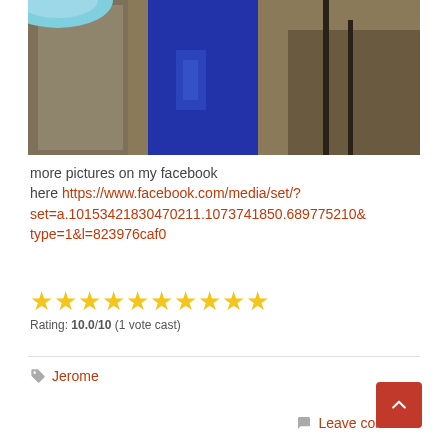[Figure (photo): Photo of a blue vertical object (possibly a vase or bottle) in front of a mirror and some furniture. A light blue bowl is partially visible at the top left.]
more pictures on my facebook here https://www.facebook.com/media/set/?set=a.10153421830470211.1073741850.689775210&type=1&l=823976caf0
[Figure (other): 10 yellow star rating icons]
Rating: 10.0/10 (1 vote cast)
Jerome
Leave comment